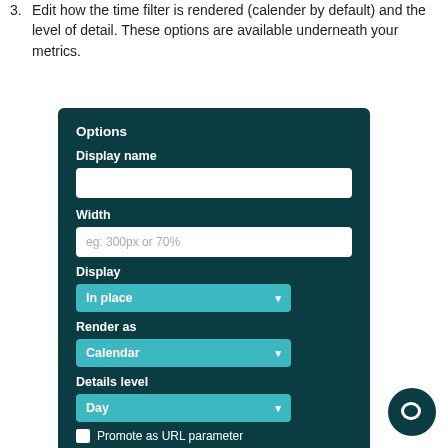3. Edit how the time filter is rendered (calender by default) and the level of detail. These options are available underneath your metrics.
[Figure (screenshot): A dark teal UI panel titled 'Options' showing form fields: Display name (empty text input), Width (text input with placeholder 'eg: 300px or 70%'), Display (dropdown showing 'In place'), Render as (dropdown showing 'Calendar'), Details level (dropdown showing 'Day'), and two checkboxes: 'Promote as URL parameter' and 'Do not share across tab'.]